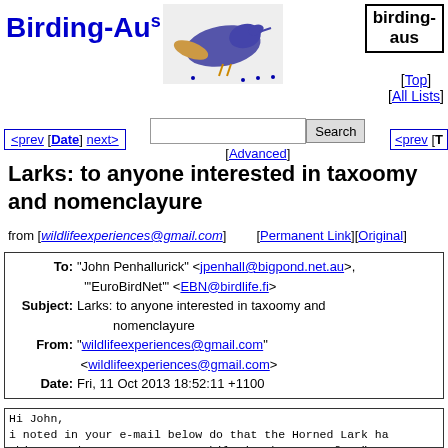Birding-Aus [birding-aus] [Top] [All Lists]
<prev [Date] next>   Search [Advanced]   <prev [T
Larks: to anyone interested in taxoomy and nomenclayure
from [wildlifeexperiences@gmail.com]   [Permanent Link][Original]
| To: | "John Penhallurick" <jpenhall@bigpond.net.au>, "'EuroBirdNet'" <EBN@birdlife.fi> |
| Subject: | Larks: to anyone interested in taxoomy and nomenclayure |
| From: | "wildlifeexperiences@gmail.com" <wildlifeexperiences@gmail.com> |
| Date: | Fri, 11 Oct 2013 18:52:11 +1100 |
Hi John,
i noted in your e-mail below do that the Horned Lark ha
This must be a typo as Eremophila is the genus for "Emu